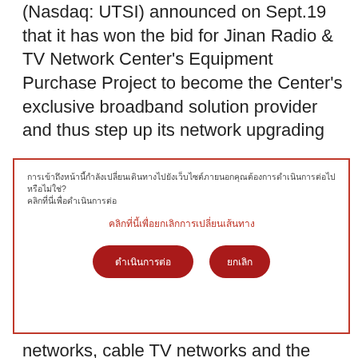(Nasdaq: UTSI) announced on Sept.19 that it has won the bid for Jinan Radio & TV Network Center's Equipment Purchase Project to become the Center's exclusive broadband solution provider and thus step up its network upgrading
[Figure (other): A dialog box with a red border containing Thai-language text body, a red hyperlink, and two red pill-shaped buttons with Thai text labels.]
networks, cable TV networks and the Internet. After deployment of the UTStarcom solution, the Jinan Radio & TV Network Center will be capable of providing high quality carrier-class broadband and multimedia services to business and residential customers. With its unique extensibility and